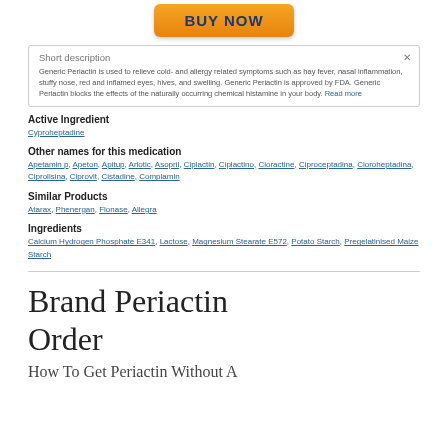[Figure (other): Orange BUY NOW button]
Short description
Generic Periactin is used to relieve cold- and allergy-related symptoms such as hay fever, nasal inflammation, stuffy nose, red and inflamed eyes, hives, and swelling. Generic Periactin is approved by FDA. Generic Periactin blocks the effects of the naturally occurring chemical histamine in your body. Read more
Active Ingredient
Cyproheptadine
Other names for this medication
Apetamin p, Apeton, Apitup, Ariotic, Asopril, Ciplactin, Ciplactino, Cloractine, Ciproceptadina, Cloroheptadina, Ciprolisina, Ciprovit, Cistadine, Complamin
Similar Products
Atarax, Phenergan, Flonase, Allegra
Ingredients
Calcium Hydrogen Phosphate E341, Lactose, Magnesium Stearate E572, Potato Starch, Pregelatinised Maize Starch
Brand Periactin Order
How To Get Periactin Without A